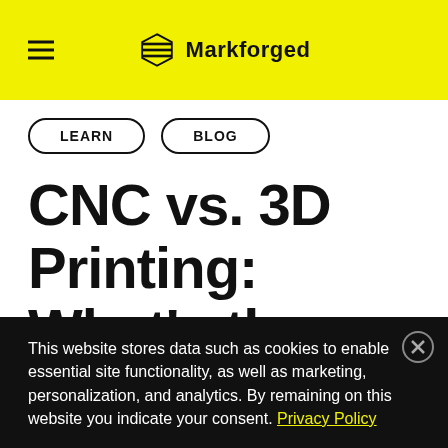Markforged
LEARN   BLOG
CNC vs. 3D Printing: What's the Best Way to Make Your Part?
This website stores data such as cookies to enable essential site functionality, as well as marketing, personalization, and analytics. By remaining on this website you indicate your consent. Privacy Policy